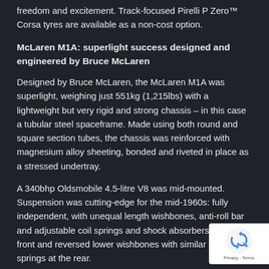freedom and excitement. Track-focused Pirelli P Zero™ Corsa tyres are available as a non-cost option.
McLaren M1A: superlight success designed and engineered by Bruce McLaren
Designed by Bruce McLaren, the McLaren M1A was superlight, weighing just 551kg (1,215lbs) with a lightweight but very rigid and strong chassis – in this case a tubular steel spaceframe. Made using both round and square section tubes, the chassis was reinforced with magnesium alloy sheeting, bonded and riveted in place as a stressed undertray.
A 340bhp Oldsmobile 4.5-litre V8 was mid-mounted. Suspension was cutting-edge for the mid-1960s: fully independent, with unequal length wishbones, anti-roll bar and adjustable coil springs and shock absorbers at the front and reversed lower wishbones with similar coil springs at the rear.
The moulded resin bodywork – again light in weight visually very distinctive, with the M1A and McLaren- M1A [Mk I] both having a pointed nose and absence of any lip at the rear. The styling of the later McLaren Elva M1B
[Figure (logo): reCAPTCHA badge with recycling-style arrow icon and Privacy-Terms text]